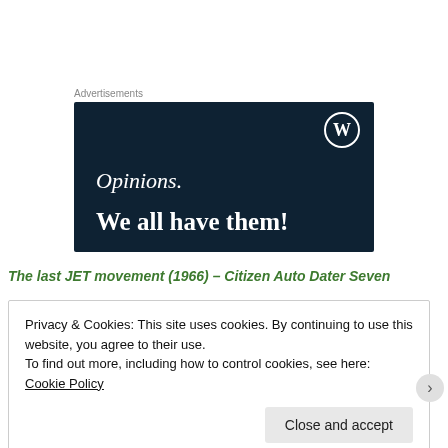Advertisements
[Figure (illustration): Dark navy blue advertisement banner with WordPress logo (W in circle) in top right. Text reads 'Opinions.' in italic serif and 'We all have them!' in bold serif, both in white.]
The last JET movement (1966) – Citizen Auto Dater Seven
Privacy & Cookies: This site uses cookies. By continuing to use this website, you agree to their use.
To find out more, including how to control cookies, see here: Cookie Policy
Close and accept